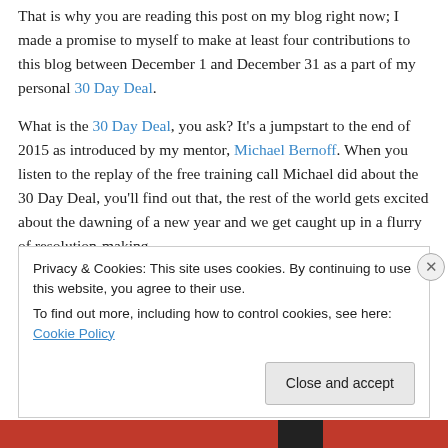That is why you are reading this post on my blog right now; I made a promise to myself to make at least four contributions to this blog between December 1 and December 31 as a part of my personal 30 Day Deal.
What is the 30 Day Deal, you ask? It's a jumpstart to the end of 2015 as introduced by my mentor, Michael Bernoff. When you listen to the replay of the free training call Michael did about the 30 Day Deal, you'll find out that, the rest of the world gets excited about the dawning of a new year and we get caught up in a flurry of resolution-making and resolutions become with the spirit of the turning of the…
Privacy & Cookies: This site uses cookies. By continuing to use this website, you agree to their use.
To find out more, including how to control cookies, see here: Cookie Policy